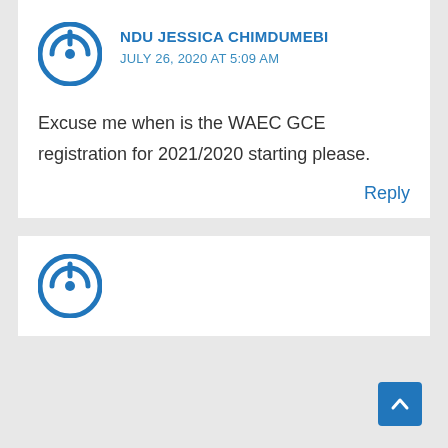[Figure (logo): Blue circular power/user avatar icon for comment author NDU JESSICA CHIMDUMEBI]
NDU JESSICA CHIMDUMEBI
JULY 26, 2020 AT 5:09 AM
Excuse me when is the WAEC GCE registration for 2021/2020 starting please.
Reply
[Figure (logo): Blue circular power/user avatar icon for second comment author]